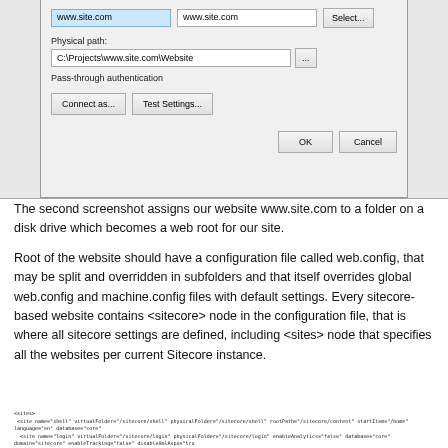[Figure (screenshot): Windows IIS dialog box showing website binding configuration with host name 'www.site.com', physical path 'C:\Projects\www.site.com\Website', pass-through authentication, Connect as and Test Settings buttons, and OK/Cancel buttons.]
The second screenshot assigns our website www.site.com to a folder on a disk drive which becomes a web root for our site.
Root of the website should have a configuration file called web.config, that may be split and overridden in subfolders and that itself overrides global web.config and machine.config files with default settings. Every sitecore-based website contains <sitecore> node in the configuration file, that is where all sitecore settings are defined, including <sites> node that specifies all the websites per current Sitecore instance.
[Figure (screenshot): Code snippet showing XML configuration with site elements defining virtualFolder, physicalFolder, rootPath, startItem, database, domain, enableAnalytics, and other Sitecore site settings.]